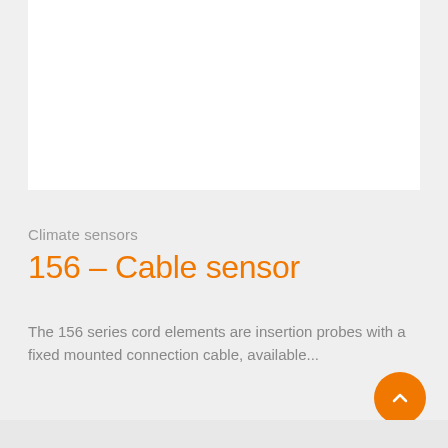[Figure (photo): White rectangular product image panel at the top of the page]
Climate sensors
156 – Cable sensor
The 156 series cord elements are insertion probes with a fixed mounted connection cable, available...
View product →